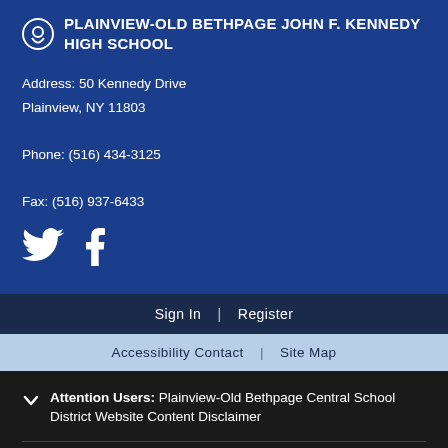PLAINVIEW-OLD BETHPAGE JOHN F. KENNEDY HIGH SCHOOL
Address: 50 Kennedy Drive
Plainview, NY 11803

Phone: (516) 434-3125

Fax: (516) 937-6433
[Figure (other): Twitter and Facebook social media icons in white]
Sign In | Register
Accessibility Contact | Site Map
Attention Users: Plainview-Old Bethpage Central School District Website Content Disclaimer
[Figure (logo): Blackboard logo in white italic text]